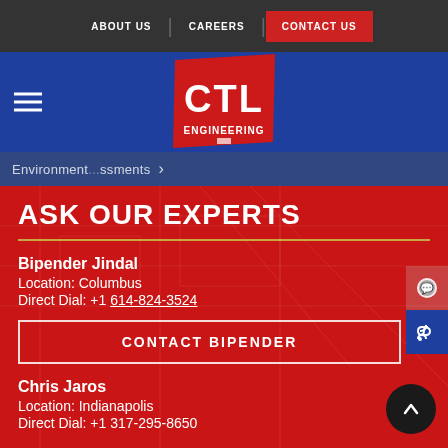ABOUT US | CAREERS | CONTACT US
[Figure (logo): CTL Engineering logo — red diagonal parallelogram with white letters CTL and ENGINEERING below]
Environment...ssments →
ASK OUR EXPERTS
Bipender Jindal
Location: Columbus
Direct Dial: +1 614-824-3524
CONTACT BIPENDER
Chris Jaros
Location: Indianapolis
Direct Dial: +1 317-295-8650